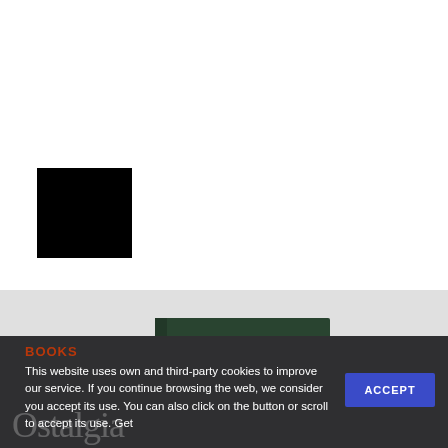[Figure (photo): Black square logo/placeholder in upper left area on white background]
[Figure (photo): Book titled OSTALGIA with dark green cover and orange title text, displayed on a light gray surface]
[Figure (photo): Right side partial beige/cream panel]
BOOKS
This website uses own and third-party cookies to improve our service. If you continue browsing the web, we consider you accept its use. You can also click on the button or scroll to accept its use. Get
ACCEPT
Ostalgia